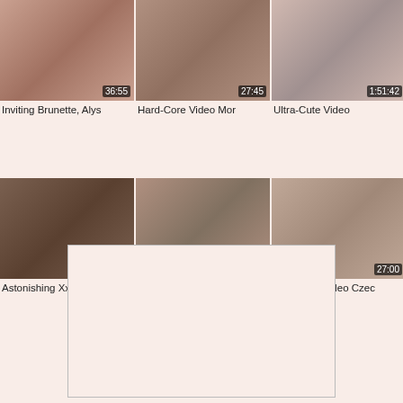[Figure (screenshot): Video thumbnail row 1, card 1 with duration 36:55]
Inviting Brunette, Alys
[Figure (screenshot): Video thumbnail row 1, card 2 with duration 27:45]
Hard-Core Video Mor
[Figure (screenshot): Video thumbnail row 1, card 3 with duration 1:51:42]
Ultra-Cute Video
[Figure (screenshot): Video thumbnail row 2, card 1 with duration 33:04]
Astonishing Xxx Videc
[Figure (screenshot): Video thumbnail row 2, card 2 with duration 18:36]
Good Adult Video Mu
[Figure (screenshot): Video thumbnail row 2, card 3 with duration 27:00]
Wild Adult Video Czec
[Figure (other): Empty advertisement box with border]